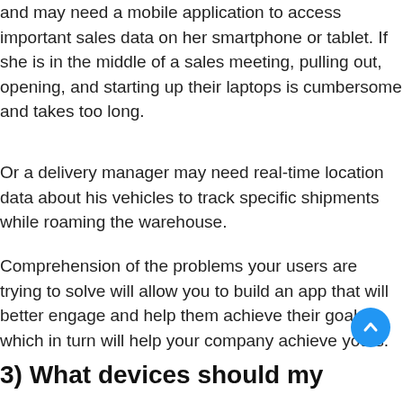and may need a mobile application to access important sales data on her smartphone or tablet. If she is in the middle of a sales meeting, pulling out, opening, and starting up their laptops is cumbersome and takes too long.
Or a delivery manager may need real-time location data about his vehicles to track specific shipments while roaming the warehouse.
Comprehension of the problems your users are trying to solve will allow you to build an app that will better engage and help them achieve their goals, which in turn will help your company achieve yours.
3) What devices should my